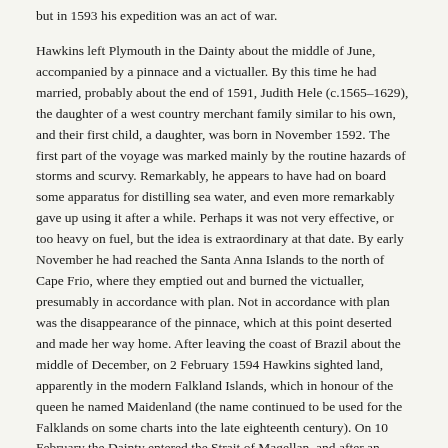but in 1593 his expedition was an act of war.
Hawkins left Plymouth in the Dainty about the middle of June, accompanied by a pinnace and a victualler. By this time he had married, probably about the end of 1591, Judith Hele (c.1565–1629), the daughter of a west country merchant family similar to his own, and their first child, a daughter, was born in November 1592. The first part of the voyage was marked mainly by the routine hazards of storms and scurvy. Remarkably, he appears to have had on board some apparatus for distilling sea water, and even more remarkably gave up using it after a while. Perhaps it was not very effective, or too heavy on fuel, but the idea is extraordinary at that date. By early November he had reached the Santa Anna Islands to the north of Cape Frio, where they emptied out and burned the victualler, presumably in accordance with plan. Not in accordance with plan was the disappearance of the pinnace, which at this point deserted and made her way home. After leaving the coast of Brazil about the middle of December, on 2 February 1594 Hawkins sighted land, apparently in the modern Falkland Islands, which in honour of the queen he named Maidenland (the name continued to be used for the Falklands on some charts into the late eighteenth century). On 10 February the Dainty entered the Strait of Magellan, and after an eventful passage reached the Pacific safely about the end of March, revictualling at the island of Mocha on 19 April. During May Hawkins attacked and plundered the town of Valparaiso, but the Pacific coast was no longer the soft touch that it had been sixteen years